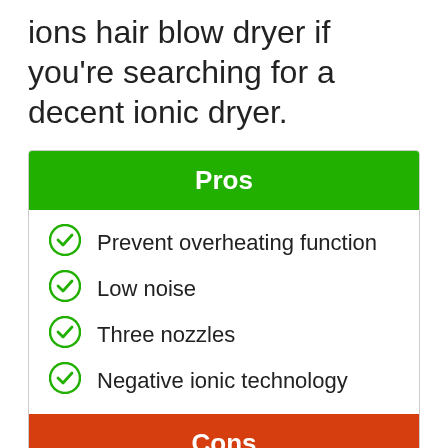ions hair blow dryer if you're searching for a decent ionic dryer.
Pros
Prevent overheating function
Low noise
Three nozzles
Negative ionic technology
Cons
A little heavy product